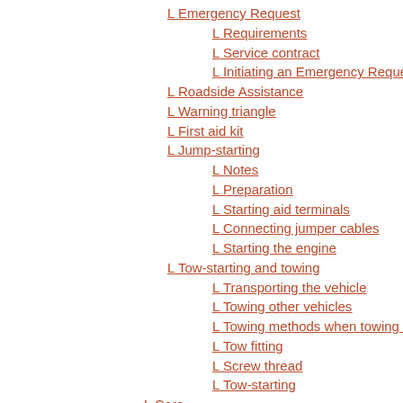Emergency Request
Requirements
Service contract
Initiating an Emergency Request
Roadside Assistance
Warning triangle
First aid kit
Jump-starting
Notes
Preparation
Starting aid terminals
Connecting jumper cables
Starting the engine
Tow-starting and towing
Transporting the vehicle
Towing other vehicles
Towing methods when towing other vehicles
Tow fitting
Screw thread
Tow-starting
Care
Car washe0
Notes